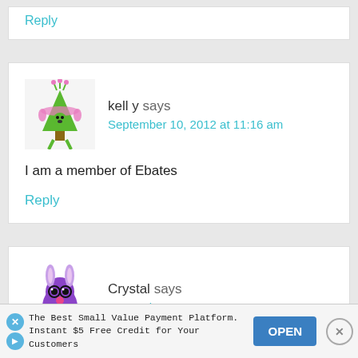[Figure (illustration): Top stub of a comment block, partially visible at top of page]
kell y says
September 10, 2012 at 11:16 am
[Figure (illustration): Avatar of kell y: cartoon green Christmas tree character with pink hair and accessories]
I am a member of Ebates
Reply
Crystal says
September 10, 2012 at 11:16 am
[Figure (illustration): Avatar of Crystal: cartoon purple bug/monster character with green antennae]
I'm
The Best Small Value Payment Platform. Instant $5 Free Credit for Your Customers
OPEN